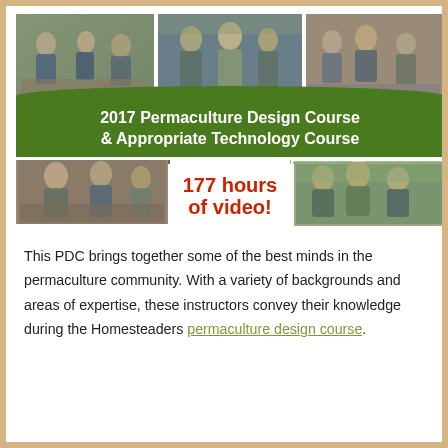[Figure (photo): Promotional banner for 2017 Permaculture Design Course and Appropriate Technology Course. Shows a collage of six photos of people at workshops and outdoor activities, with a green banner in the center reading '2017 Permaculture Design Course & Appropriate Technology Course' and red text reading '177 hours of video!']
This PDC brings together some of the best minds in the permaculture community. With a variety of backgrounds and areas of expertise, these instructors convey their knowledge during the Homesteaders permaculture design course.